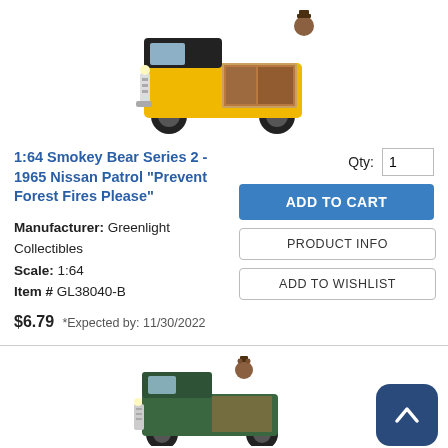[Figure (photo): Yellow 1965 Nissan Patrol die-cast model car with Smokey Bear artwork on the side, viewed from a 3/4 front angle]
1:64 Smokey Bear Series 2 - 1965 Nissan Patrol "Prevent Forest Fires Please"
Manufacturer: Greenlight Collectibles
Scale: 1:64
Item # GL38040-B
$6.79  *Expected by: 11/30/2022
[Figure (photo): Green Land Rover die-cast model car with Smokey Bear figure on top, viewed from a 3/4 angle, partially visible at bottom of page]